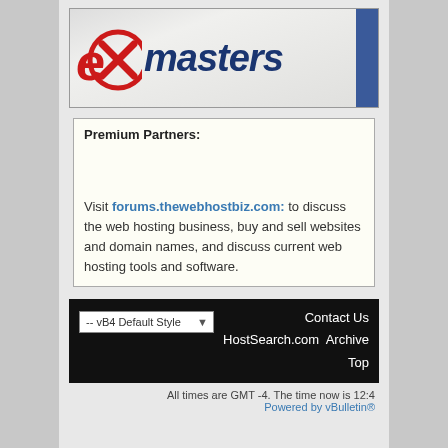[Figure (logo): eXmasters logo with red X circle icon and dark blue 'masters' text, blue sidebar stripe on the right]
Premium Partners:
Visit forums.thewebhostbiz.com: to discuss the web hosting business, buy and sell websites and domain names, and discuss current web hosting tools and software.
-- vB4 Default Style   Contact Us  HostSearch.com  Archive  Top
All times are GMT -4. The time now is 12:4
Powered by vBulletin®